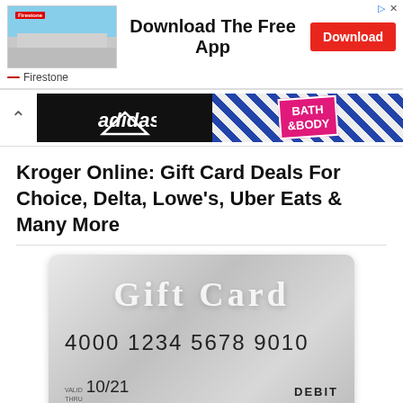[Figure (infographic): Firestone advertisement banner with store photo, 'Download The Free App' text, and red Download button]
[Figure (infographic): Second ad row with chevron, Adidas black logo section and Bath & Body Works pink logo on green/plaid background]
Kroger Online: Gift Card Deals For Choice, Delta, Lowe's, Uber Eats & Many More
[Figure (photo): Silver Visa gift card showing number 4000 1234 5678 9010, VALID THRU 10/21, DEBIT, VISA, GIFT CARD RECIPIENT, VALID ONLY IN THE UNITED STATES]